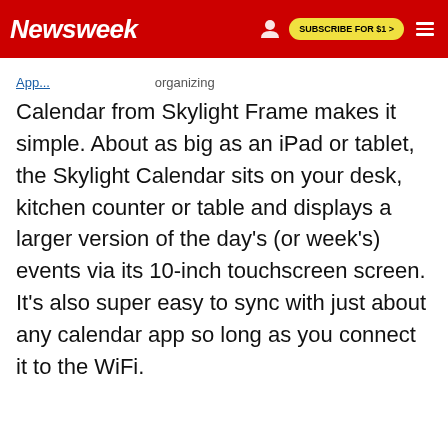Newsweek | SUBSCRIBE FOR $1 >
Calendar from Skylight Frame makes it simple. About as big as an iPad or tablet, the Skylight Calendar sits on your desk, kitchen counter or table and displays a larger version of the day's (or week's) events via its 10-inch touchscreen screen. It's also super easy to sync with just about any calendar app so long as you connect it to the WiFi.